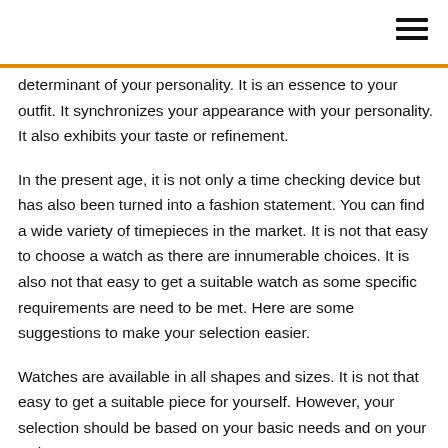determinant of your personality. It is an essence to your outfit. It synchronizes your appearance with your personality. It also exhibits your taste or refinement.
In the present age, it is not only a time checking device but has also been turned into a fashion statement. You can find a wide variety of timepieces in the market. It is not that easy to choose a watch as there are innumerable choices. It is also not that easy to get a suitable watch as some specific requirements are need to be met. Here are some suggestions to make your selection easier.
Watches are available in all shapes and sizes. It is not that easy to get a suitable piece for yourself. However, your selection should be based on your basic needs and on your style